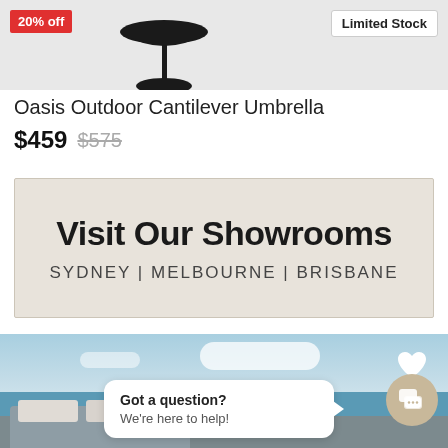[Figure (photo): Product image of Oasis Outdoor Cantilever Umbrella on light grey background, with 20% off badge top-left and Limited Stock badge top-right]
Oasis Outdoor Cantilever Umbrella
$459 $575
[Figure (infographic): Showroom banner with beige background: 'Visit Our Showrooms' in large bold text, 'SYDNEY | MELBOURNE | BRISBANE' below in spaced caps]
[Figure (photo): Outdoor lifestyle photo showing sofa furniture against a sky and sea backdrop, with a heart/favourite icon, a chat popup bubble saying 'Got a question? We're here to help!' and a chat button]